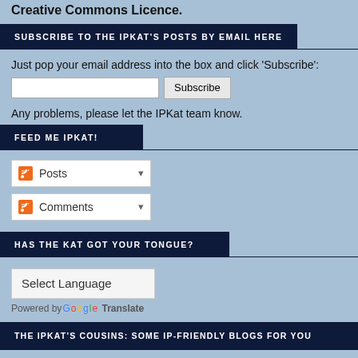Creative Commons Licence.
SUBSCRIBE TO THE IPKAT'S POSTS BY EMAIL HERE
Just pop your email address into the box and click 'Subscribe':
FEED ME IPKAT!
HAS THE KAT GOT YOUR TONGUE?
Select Language
Powered by Google Translate
THE IPKAT'S COUSINS: SOME IP-FRIENDLY BLOGS FOR YOU